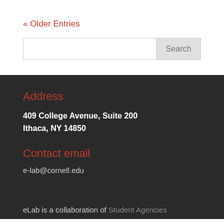« Older Entries
Search
Address
409 College Avenue, Suite 200
Ithaca, NY 14850
Contact email
e-lab@cornell.edu
eLab is a collaboration of Student Agencies